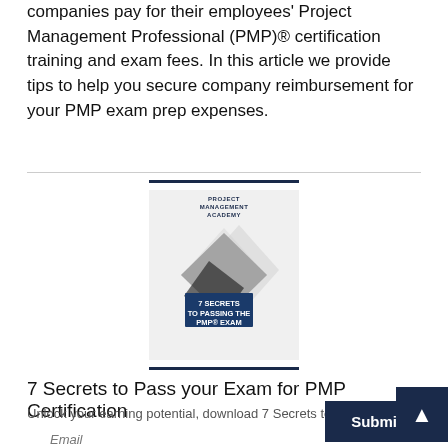companies pay for their employees' Project Management Professional (PMP)® certification training and exam fees. In this article we provide tips to help you secure company reimbursement for your PMP exam prep expenses.
[Figure (illustration): Book cover for '7 Secrets to Passing the PMP® Exam' with diamond-shaped graphic and hands typing on keyboard, published by Project Management Academy]
7 Secrets to Pass your Exam for PMP Certification
Unlock your earning potential, download 7 Secrets to Pass
More Articles
Email
Submit